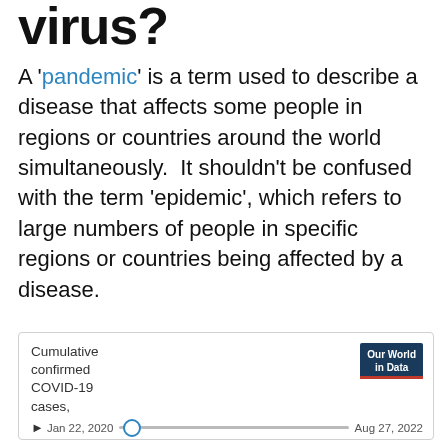virus?
A 'pandemic' is a term used to describe a disease that affects some people in regions or countries around the world simultaneously. It shouldn't be confused with the term 'epidemic', which refers to large numbers of people in specific regions or countries being affected by a disease.
[Figure (screenshot): A screenshot of an Our World in Data interactive chart widget showing 'Cumulative confirmed COVID-19 cases, Jan 22, 2020' with a timeline slider set to Jan 22, 2020 and ending at Aug 27, 2022. The widget has tabs: CHART, MAP (active/underlined), TABLE, SOURCES, DOWNLOAD, share, and fullscreen icons. The Our World in Data logo appears in the top-right corner with a red underbar.]